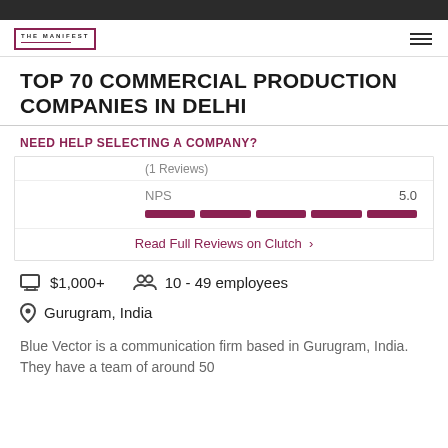TOP 70 COMMERCIAL PRODUCTION COMPANIES IN DELHI
NEED HELP SELECTING A COMPANY?
(1 Reviews)
NPS  5.0
Read Full Reviews on Clutch ›
$1,000+
10 - 49 employees
Gurugram, India
Blue Vector is a communication firm based in Gurugram, India. They have a team of around 50 employees and were founded in 2017. They f…